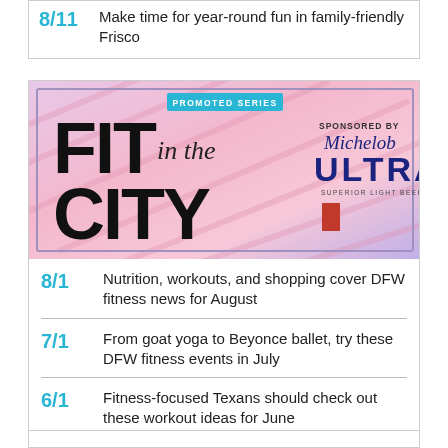8/11 Make time for year-round fun in family-friendly Frisco
[Figure (illustration): Fit in the City promoted series banner sponsored by Michelob ULTRA. Pink/purple gradient background with diagonal stripes. Large bold text 'FIT' and 'CITY', italic script 'in the' in middle, Michelob ULTRA logo top right, red ribbon icon bottom right.]
8/1 Nutrition, workouts, and shopping cover DFW fitness news for August
7/1 From goat yoga to Beyonce ballet, try these DFW fitness events in July
6/1 Fitness-focused Texans should check out these workout ideas for June